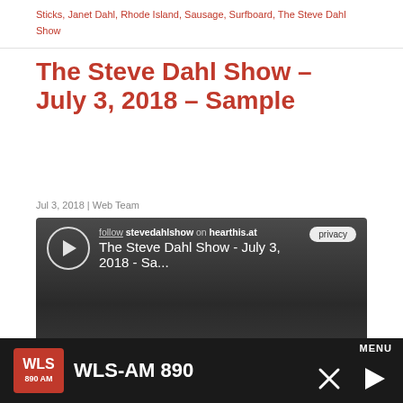Sticks, Janet Dahl, Rhode Island, Sausage, Surfboard, The Steve Dahl Show
The Steve Dahl Show – July 3, 2018 – Sample
Jul 3, 2018 | Web Team
[Figure (screenshot): Embedded audio player from hearthis.at showing 'The Steve Dahl Show - July 3, 2018 - Sa...' with play button, privacy button, time display 10:00, and share/like/repost/info controls]
It's a busy morning for Steve and Janet! Steve's working from his home studio today. Brendan has a suggestion for the garage sale! A plan to bring b-writes from Pasadena to Chicago is destined to fail.
WLS-AM 890